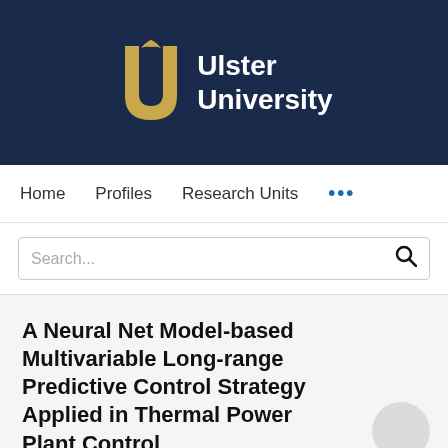[Figure (logo): Ulster University logo on dark navy background — gold stylized 'U' with bird emblem and white bold text 'Ulster University']
Home   Profiles   Research Units   ...
Search...
A Neural Net Model-based Multivariable Long-range Predictive Control Strategy Applied in Thermal Power Plant Control